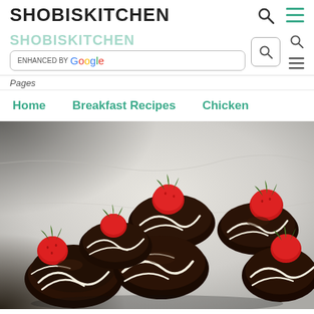SHOBISKITCHEN
[Figure (screenshot): Google search bar with 'SHOBISKITCHEN enhanced by Google' overlay on the website header]
Pages
Home    Breakfast Recipes    Chicken
[Figure (photo): Chocolate-covered strawberries with white chocolate drizzle on a white surface]